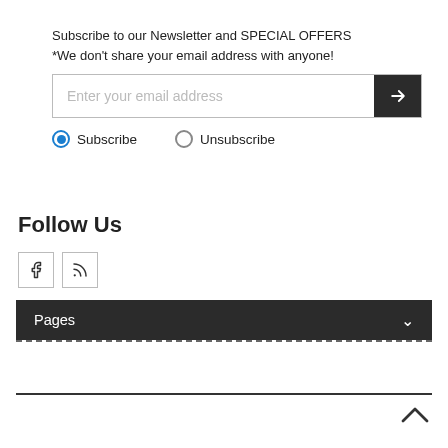Subscribe to our Newsletter and SPECIAL OFFERS
*We don't share your email address with anyone!
[Figure (screenshot): Email subscription input field with placeholder text 'Enter your email address' and a dark submit button with right arrow icon]
Subscribe  Unsubscribe
Follow Us
[Figure (infographic): Social media icons: Facebook (f) and RSS feed icons in bordered square boxes]
Pages
^